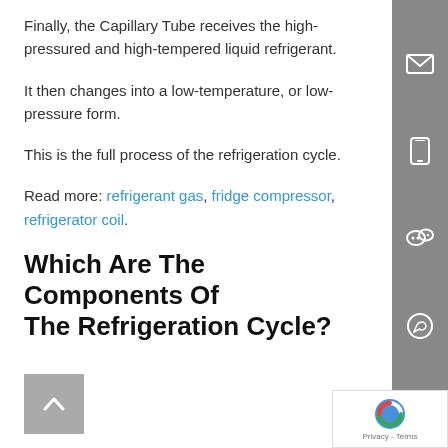Finally, the Capillary Tube receives the high-pressured and high-tempered liquid refrigerant.
It then changes into a low-temperature, or low-pressure form.
This is the full process of the refrigeration cycle.
Read more: refrigerant gas, fridge compressor, refrigerator coil.
Which Are The Components Of The Refrigeration Cycle?
[Figure (other): Gray sidebar with social/contact icons: email envelope, mobile phone, WeChat, WhatsApp]
[Figure (other): Back-to-top chevron button (gray square with upward arrow)]
[Figure (other): Google reCAPTCHA badge with logo and Privacy - Terms text]